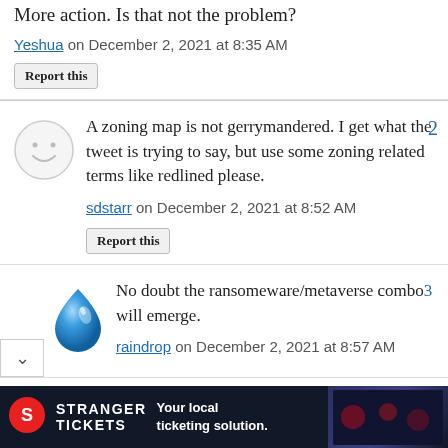More action. Is that not the problem?
Yeshua on December 2, 2021 at 8:35 AM
Report this
A zoning map is not gerrymandered. I get what the tweet is trying to say, but use some zoning related terms like redlined please.
sdstarr on December 2, 2021 at 8:52 AM
Report this
No doubt the ransomeware/metaverse combo3 will emerge.
raindrop on December 2, 2021 at 8:57 AM